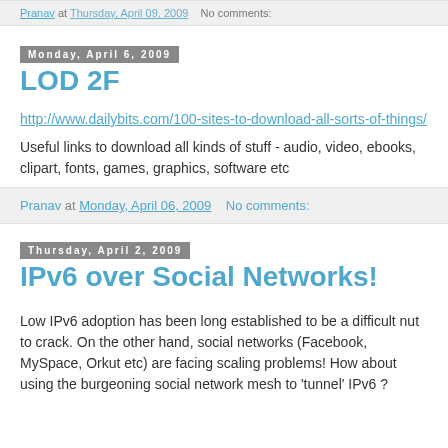Pranav at Thursday, April 09, 2009   No comments:
Monday, April 6, 2009
LOD 2F
http://www.dailybits.com/100-sites-to-download-all-sorts-of-things/
Useful links to download all kinds of stuff - audio, video, ebooks, clipart, fonts, games, graphics, software etc
Pranav at Monday, April 06, 2009   No comments:
Thursday, April 2, 2009
IPv6 over Social Networks!
Low IPv6 adoption has been long established to be a difficult nut to crack. On the other hand, social networks (Facebook, MySpace, Orkut etc) are facing scaling problems! How about using the burgeoning social network mesh to 'tunnel' IPv6 ?